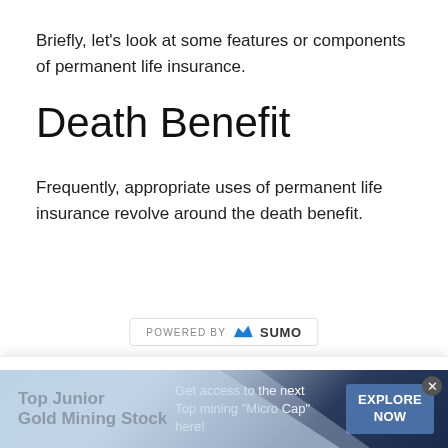Briefly, let’s look at some features or components of permanent life insurance.
Death Benefit
Frequently, appropriate uses of permanent life insurance revolve around the death benefit.
[Figure (logo): POWERED BY SUMO logo badge with crown icon]
Join the FiPhysician Team!
Sign up today and be the first to get notified with new posts!
Enter your Email
[Figure (infographic): Advertisement banner: Top Junior Gold Mining Stock — Get access to the next Top mining "Micro Cap" here! — EXPLORE NOW button]